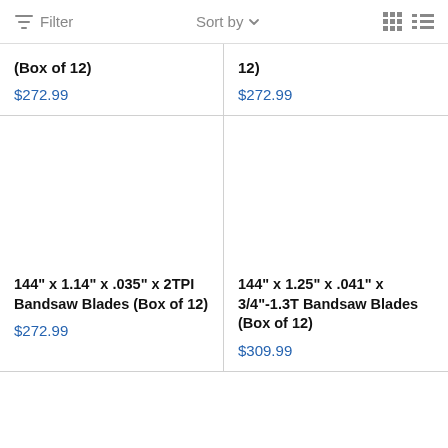Filter   Sort by   [grid icon] [list icon]
(Box of 12)
$272.99
12)
$272.99
144" x 1.14" x .035" x 2TPI Bandsaw Blades (Box of 12)
$272.99
144" x 1.25" x .041" x 3/4"-1.3T Bandsaw Blades (Box of 12)
$309.99